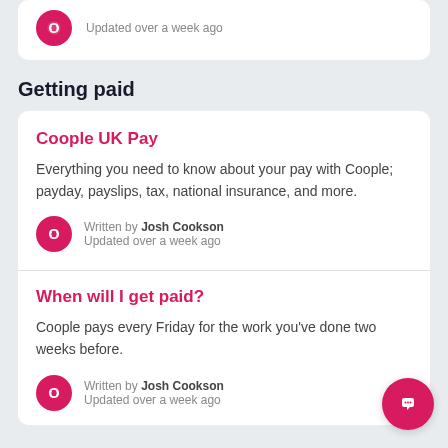Updated over a week ago
Getting paid
Coople UK Pay
Everything you need to know about your pay with Coople; payday, payslips, tax, national insurance, and more.
Written by Josh Cookson
Updated over a week ago
When will I get paid?
Coople pays every Friday for the work you've done two weeks before.
Written by Josh Cookson
Updated over a week ago